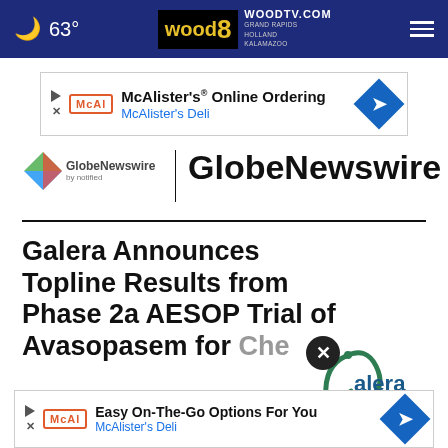63° | WOODTV.COM | GRAND RAPIDS, HOLLAND, KALAMAZOO
[Figure (screenshot): McAlister's Online Ordering ad banner with McAl logo and navigation arrow]
[Figure (logo): GlobeNewswire by notified logo with colorful arrow icon]
GlobeNewswire
Galera Announces Topline Results from Phase 2a AESOP Trial of Avasopasem for Chemoradiotherapy-Induced...
[Figure (logo): Galera Therapeutics, Inc. company logo]
[Figure (screenshot): McAlister's Deli Easy On-The-Go Options For You ad banner]